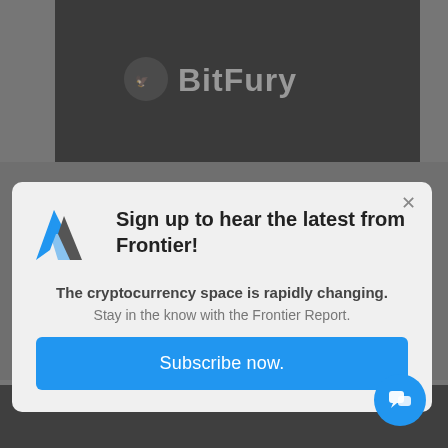[Figure (screenshot): Background showing BitFury logo/banner on dark background, with gray dimmed overlay]
[Figure (infographic): Modal popup dialog with Artemis/Frontier logo, headline, tagline, and Subscribe now button]
Sign up to hear the latest from Frontier!
The cryptocurrency space is rapidly changing.
Stay in the know with the Frontier Report.
Subscribe now.
[Figure (illustration): Blue circular chat bubble icon in bottom right corner]